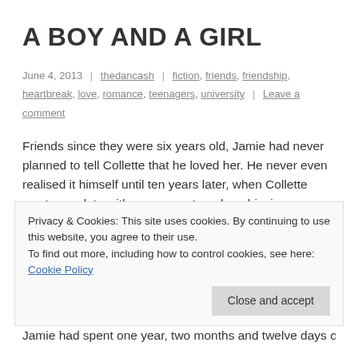A BOY AND A GIRL
June 4, 2013  |  thedancash  |  fiction, friends, friendship, heartbreak, love, romance, teenagers, university  |  Leave a comment
Friends since they were six years old, Jamie had never planned to tell Collette that he loved her. He never even realised it himself until ten years later, when Collette went on a date with an arrogant, underachieving arsehole. For the next year, two months and twelve days, Collette was in a happy, if not turbulent, relationship until eventually she decided that they had had one argument too many. After storming out of her now ex boyfriend's front door, she
Privacy & Cookies: This site uses cookies. By continuing to use this website, you agree to their use.
To find out more, including how to control cookies, see here: Cookie Policy
Jamie had spent one year, two months and twelve days of his